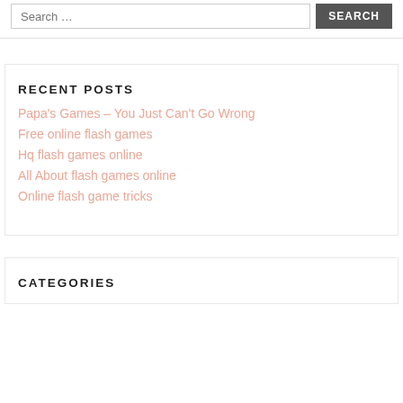Search …
RECENT POSTS
Papa's Games – You Just Can't Go Wrong
Free online flash games
Hq flash games online
All About flash games online
Online flash game tricks
CATEGORIES